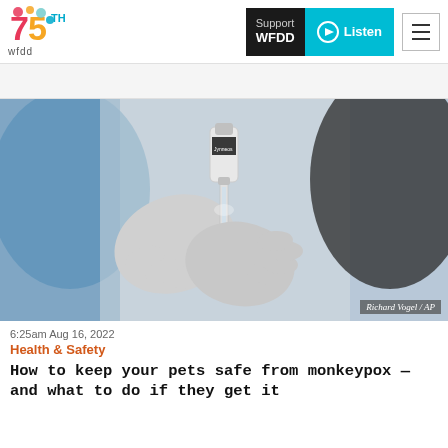WFDD 75th - Support WFDD | Listen
[Figure (photo): Close-up of gloved hands drawing vaccine into a syringe from a vial, with a blurred person in the background]
Richard Vogel / AP
6:25am Aug 16, 2022
Health & Safety
How to keep your pets safe from monkeypox — and what to do if they get it